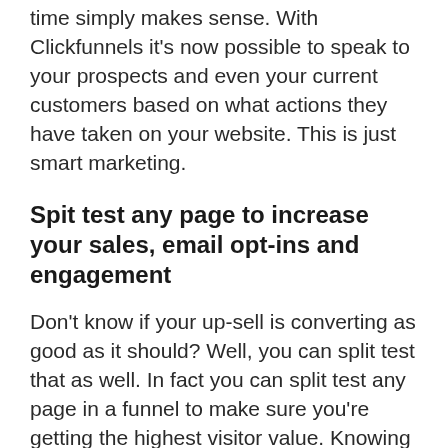time simply makes sense. With Clickfunnels it's now possible to speak to your prospects and even your current customers based on what actions they have taken on your website. This is just smart marketing.
Spit test any page to increase your sales, email opt-ins and engagement
Don't know if your up-sell is converting as good as it should? Well, you can split test that as well. In fact you can split test any page in a funnel to make sure you're getting the highest visitor value. Knowing how much each website visitor